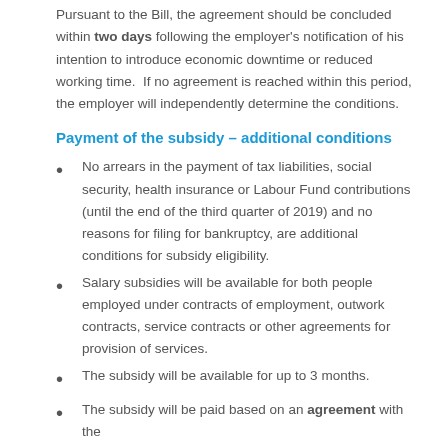Pursuant to the Bill, the agreement should be concluded within two days following the employer's notification of his intention to introduce economic downtime or reduced working time. If no agreement is reached within this period, the employer will independently determine the conditions.
Payment of the subsidy – additional conditions
No arrears in the payment of tax liabilities, social security, health insurance or Labour Fund contributions (until the end of the third quarter of 2019) and no reasons for filing for bankruptcy, are additional conditions for subsidy eligibility.
Salary subsidies will be available for both people employed under contracts of employment, outwork contracts, service contracts or other agreements for provision of services.
The subsidy will be available for up to 3 months.
The subsidy will be paid based on an agreement with the